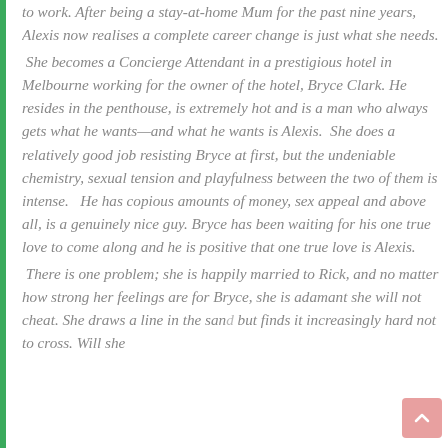to work. After being a stay-at-home Mum for the past nine years, Alexis now realises a complete career change is just what she needs.
 She becomes a Concierge Attendant in a prestigious hotel in Melbourne working for the owner of the hotel, Bryce Clark. He resides in the penthouse, is extremely hot and is a man who always gets what he wants—and what he wants is Alexis.  She does a relatively good job resisting Bryce at first, but the undeniable chemistry, sexual tension and playfulness between the two of them is intense.   He has copious amounts of money, sex appeal and above all, is a genuinely nice guy. Bryce has been waiting for his one true love to come along and he is positive that one true love is Alexis.
 There is one problem; she is happily married to Rick, and no matter how strong her feelings are for Bryce, she is adamant she will not cheat. She draws a line in the sand but finds it increasingly hard not to cross. Will she